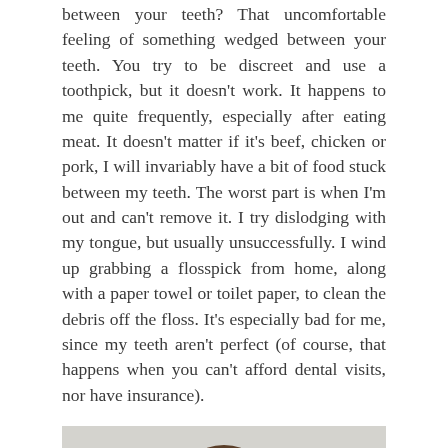between your teeth? That uncomfortable feeling of something wedged between your teeth. You try to be discreet and use a toothpick, but it doesn't work. It happens to me quite frequently, especially after eating meat. It doesn't matter if it's beef, chicken or pork, I will invariably have a bit of food stuck between my teeth. The worst part is when I'm out and can't remove it. I try dislodging with my tongue, but usually unsuccessfully. I wind up grabbing a flosspick from home, along with a paper towel or toilet paper, to clean the debris off the floss. It's especially bad for me, since my teeth aren't perfect (of course, that happens when you can't afford dental visits, nor have insurance).
[Figure (photo): A photo of a person (appears to be a woman with brown hair) from the shoulders up, against a light/grey background. Only the top of the head/hair is visible at the bottom of the image crop.]